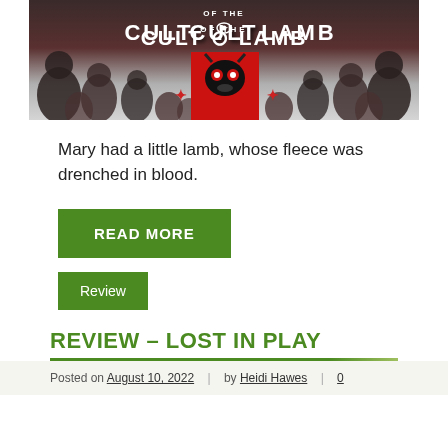[Figure (illustration): Cult of the Lamb game banner/hero image with the game title text 'CULT OF THE LAMB' displayed prominently in white stylized font on a dark background with many illustrated characters surrounding a central red-background character]
Mary had a little lamb, whose fleece was drenched in blood.
READ MORE
Review
REVIEW – LOST IN PLAY
Posted on August 10, 2022 | by Heidi Hawes | 0